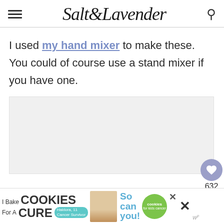Salt & Lavender
I used my hand mixer to make these. You could of course use a stand mixer if you have one.
[Figure (other): Light gray image placeholder area below the article text]
[Figure (other): Advertisement banner at bottom: I Bake COOKIES For A CURE - Haldora, 11 Cancer Survivor - So can you! - cookies for kids cancer]
632